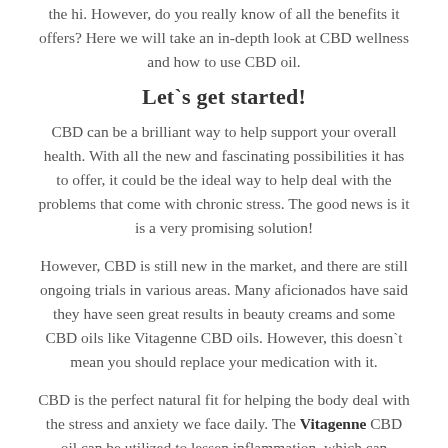the hi. However, do you really know of all the benefits it offers? Here we will take an in-depth look at CBD wellness and how to use CBD oil.
Let`s get started!
CBD can be a brilliant way to help support your overall health. With all the new and fascinating possibilities it has to offer, it could be the ideal way to help deal with the problems that come with chronic stress. The good news is it is a very promising solution!
However, CBD is still new in the market, and there are still ongoing trials in various areas. Many aficionados have said they have seen great results in beauty creams and some CBD oils like Vitagenne CBD oils. However, this doesn`t mean you should replace your medication with it.
CBD is the perfect natural fit for helping the body deal with the stress and anxiety we face daily. The Vitagenne CBD oil can be utilized to lessen inflammation, which can worsen neurodegenerative symptoms. Its effect on the immune system receptors assists in decreasing inflammation in your body. Consecutively, CBD oil may